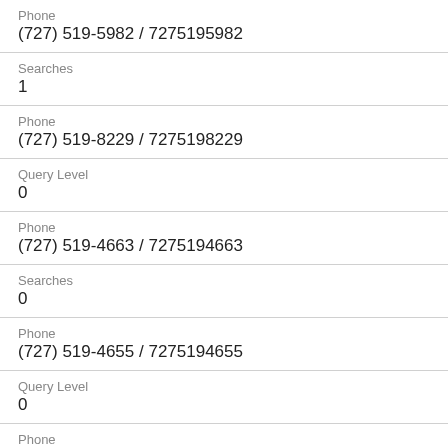Phone
(727) 519-5982 / 7275195982
Searches
1
Phone
(727) 519-8229 / 7275198229
Query Level
0
Phone
(727) 519-4663 / 7275194663
Searches
0
Phone
(727) 519-4655 / 7275194655
Query Level
0
Phone
(727) 519-8753 / 7275198753